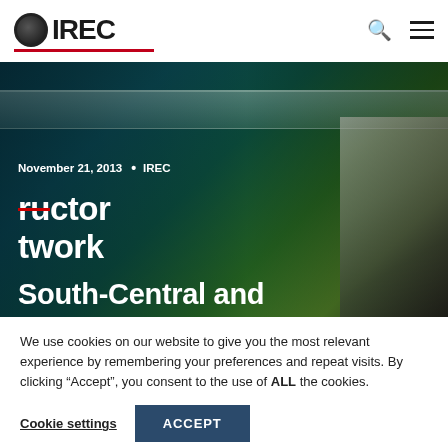IREC
[Figure (photo): Hero image showing a green and teal colored vehicle or structure with partial text 'ructor', 'twork', 'South-Central and' visible, with a person in a hard hat on the right side. Overlay text shows date November 21, 2013 and IREC tag.]
November 21, 2013  •  IREC
South-Central and
We use cookies on our website to give you the most relevant experience by remembering your preferences and repeat visits. By clicking “Accept”, you consent to the use of ALL the cookies.
Cookie settings   ACCEPT